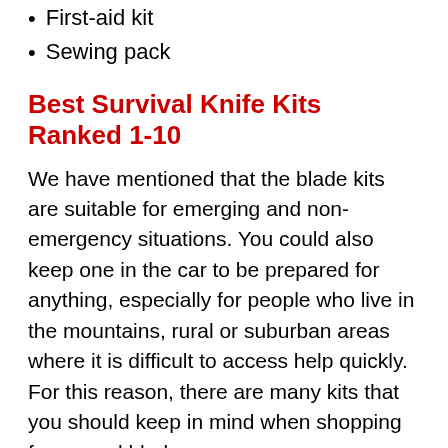First-aid kit
Sewing pack
Best Survival Knife Kits Ranked 1-10
We have mentioned that the blade kits are suitable for emerging and non-emergency situations. You could also keep one in the car to be prepared for anything, especially for people who live in the mountains, rural or suburban areas where it is difficult to access help quickly. For this reason, there are many kits that you should keep in mind when shopping for a good blade.
#1 Mossy Oak Survival Kit